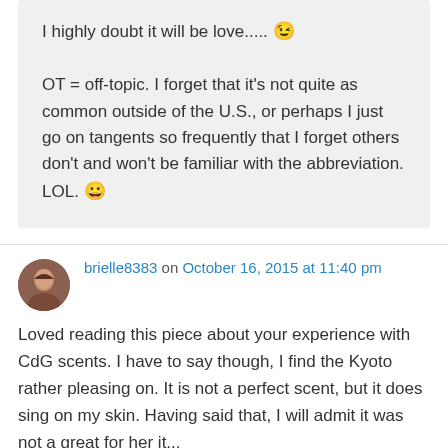I highly doubt it will be love..... 😉

OT = off-topic. I forget that it's not quite as common outside of the U.S., or perhaps I just go on tangents so frequently that I forget others don't and won't be familiar with the abbreviation. LOL. 😀
brielle8383 on October 16, 2015 at 11:40 pm
Loved reading this piece about your experience with CdG scents. I have to say though, I find the Kyoto rather pleasing on. It is not a perfect scent, but it does sing on my skin. Having said that, I will admit it was not a perfect for her it...